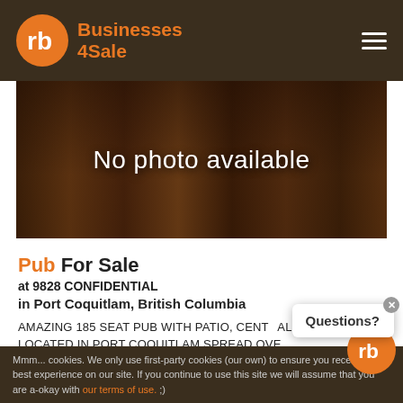Businesses 4Sale
[Figure (photo): No photo available — bar/restaurant interior background image]
Pub For Sale
at 9828 CONFIDENTIAL
in Port Coquitlam, British Columbia
AMAZING 185 SEAT PUB WITH PATIO, CENTRALLY LOCATED IN PORT COQUITLAM SPREAD OVER ... FT OVER 2 LEVELS AND AN AMAZING FULLY W... KITCHEN FOR THE CREATIVE CHEF! GREAT LEASEHOLD ...OXIMAT...
Mmm... cookies. We only use first-party cookies (our own) to ensure you receive the best experience on our site. If you continue to use this site we will assume that you are a-okay with our terms of use. ;)